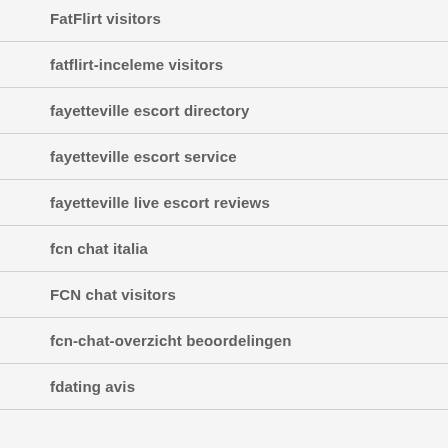FatFlirt visitors
fatflirt-inceleme visitors
fayetteville escort directory
fayetteville escort service
fayetteville live escort reviews
fcn chat italia
FCN chat visitors
fcn-chat-overzicht beoordelingen
fdating avis